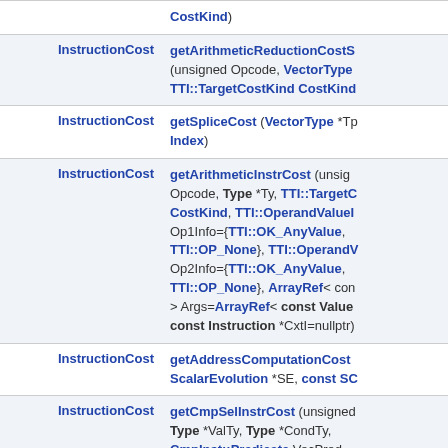| Return Type | Function Signature |
| --- | --- |
|  | CostKind) |
| InstructionCost | getArithmeticReductionCostS (unsigned Opcode, VectorType TTI::TargetCostKind CostKind |
| InstructionCost | getSpliceCost (VectorType *Tp Index) |
| InstructionCost | getArithmeticInstrCost (unsign Opcode, Type *Ty, TTI::TargetC CostKind, TTI::OperandValueI Op1Info={TTI::OK_AnyValue, TTI::OP_None}, TTI::OperandV Op2Info={TTI::OK_AnyValue, TTI::OP_None}, ArrayRef< con > Args=ArrayRef< const Value const Instruction *CxtI=nullptr) |
| InstructionCost | getAddressComputationCost ScalarEvolution *SE, const SC |
| InstructionCost | getCmpSelInstrCost (unsigned Type *ValTy, Type *CondTy, CmpInst::Predicate VecPred |